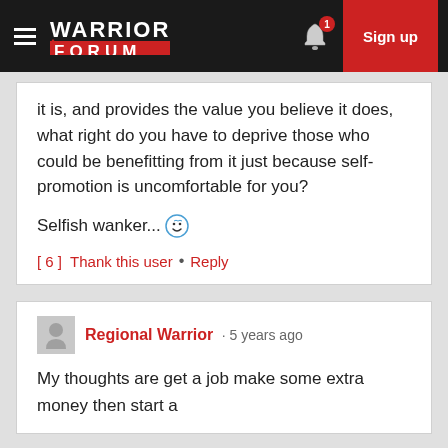Warrior Forum • Sign up
it is, and provides the value you believe it does, what right do you have to deprive those who could be benefitting from it just because self-promotion is uncomfortable for you?
Selfish wanker... 😊
[ 6 ]  Thank this user  •  Reply
Regional Warrior • 5 years ago
My thoughts are get a job make some extra money then start a